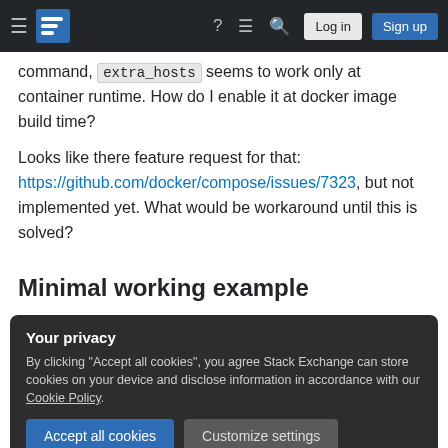Stack Exchange navigation bar with hamburger menu, logo, help, chat, search icons, Log in and Sign up buttons
command, extra_hosts seems to work only at container runtime. How do I enable it at docker image build time?
Looks like there feature request for that: https://github.com/docker/compose/issues/7323, but not implemented yet. What would be workaround until this is solved?
Minimal working example
Your privacy
By clicking "Accept all cookies", you agree Stack Exchange can store cookies on your device and disclose information in accordance with our Cookie Policy.
[Accept all cookies] [Customize settings]
and docker-compose.yml: